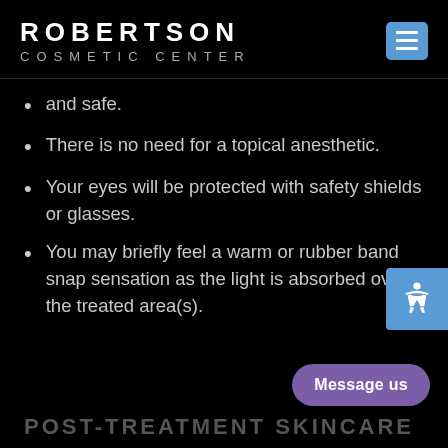ROBERTSON COSMETIC CENTER
and safe.
There is no need for a topical anesthetic.
Your eyes will be protected with safety shields or glasses.
You may briefly feel a warm or rubber band snap sensation as the light is absorbed over the treated area(s).
POST-TREATMENT SKINCARE